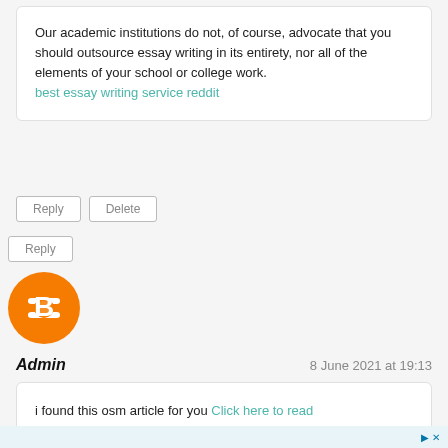Our academic institutions do not, of course, advocate that you should outsource essay writing in its entirety, nor all of the elements of your school or college work. best essay writing service reddit
Reply | Delete
Reply
[Figure (logo): Orange circular Blogger icon with white B symbol]
Admin
8 June 2021 at 19:13
i found this osm article for you Click here to read
Reply | Delete
▷ ✕